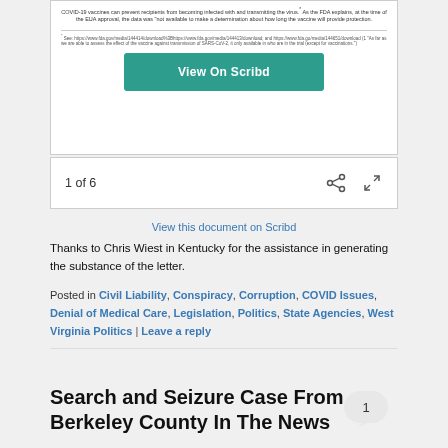[Figure (screenshot): Scribd document embed showing text about COVID-19 vaccines and FDA EUA approval, with a 'View On Scribd' teal button]
1 of 6
View this document on Scribd
Thanks to Chris Wiest in Kentucky for the assistance in generating the substance of the letter.
Posted in Civil Liability, Conspiracy, Corruption, COVID Issues, Denial of Medical Care, Legislation, Politics, State Agencies, West Virginia Politics | Leave a reply
Search and Seizure Case From Berkeley County In The News